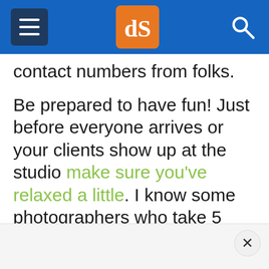dPS navigation header with hamburger menu, dPS logo, and search icon
contact numbers from folks.
Be prepared to have fun! Just before everyone arrives or your clients show up at the studio make sure you’ve relaxed a little. I know some photographers who take 5 minutes to have a coffee before shooting. Others will sit and meditate for a few minutes beforehand.